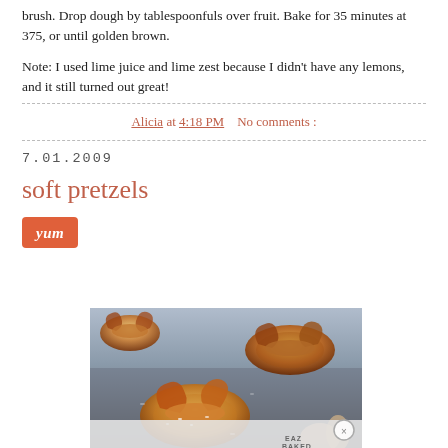brush. Drop dough by tablespoonfuls over fruit. Bake for 35 minutes at 375, or until golden brown.
Note: I used lime juice and lime zest because I didn't have any lemons, and it still turned out great!
Alicia at 4:18 PM    No comments :
7.01.2009
soft pretzels
[Figure (illustration): Yum button - orange rounded rectangle with 'yum' text in white italic]
[Figure (photo): Close-up photo of soft pretzels on a baking sheet, golden brown, with visible salt, on a dark metal tray. Bottom portion shows an advertisement overlay with a close (X) button and a 'BAKED' logo watermark.]